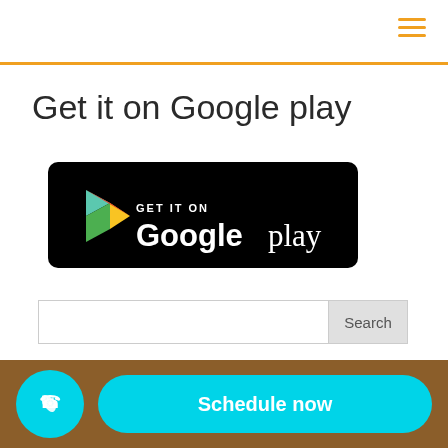Get it on Google play
[Figure (screenshot): Google Play Store badge: black rounded rectangle with Google Play logo (triangle with colored gradients) and text 'GET IT ON Google play' in white]
Search
Schedule now